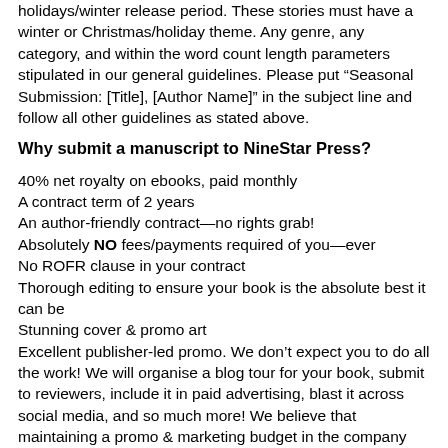holidays/winter release period. These stories must have a winter or Christmas/holiday theme. Any genre, any category, and within the word count length parameters stipulated in our general guidelines. Please put “Seasonal Submission: [Title], [Author Name]” in the subject line and follow all other guidelines as stated above.
Why submit a manuscript to NineStar Press?
40% net royalty on ebooks, paid monthly
A contract term of 2 years
An author-friendly contract—no rights grab!
Absolutely NO fees/payments required of you—ever
No ROFR clause in your contract
Thorough editing to ensure your book is the absolute best it can be
Stunning cover & promo art
Excellent publisher-led promo. We don’t expect you to do all the work! We will organise a blog tour for your book, submit to reviewers, include it in paid advertising, blast it across social media, and so much more! We believe that maintaining a promo & marketing budget in the company